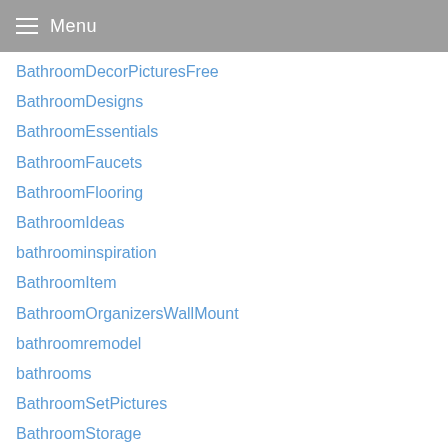Menu
BathroomDecorPicturesFree
BathroomDesigns
BathroomEssentials
BathroomFaucets
BathroomFlooring
BathroomIdeas
bathroominspiration
BathroomItem
BathroomOrganizersWallMount
bathroomremodel
bathrooms
BathroomSetPictures
BathroomStorage
BathroomTakeaway
BathroomWallShelfOrganizer
Beauty
BeckoUS